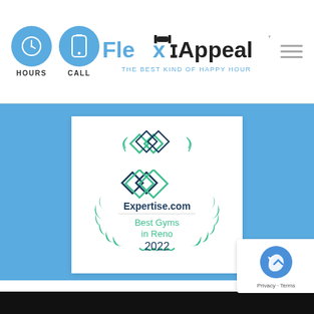[Figure (logo): Flex Appeal gym logo with barbell icon and tagline 'THE BEST KIND OF HAPPY HOUR', along with clock and phone icons labeled HOURS and CALL, and hamburger menu icon]
[Figure (illustration): Expertise.com Best Gyms in Reno 2022 award badge with teal diamond logo and laurel wreath design]
[Figure (other): reCAPTCHA badge with Privacy and Terms links]